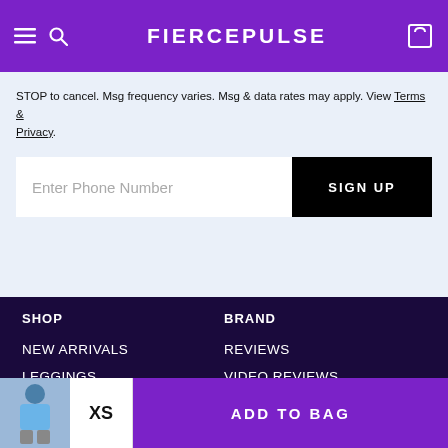FIERCEPULSE
STOP to cancel. Msg frequency varies. Msg & data rates may apply. View Terms & Privacy.
Enter Phone Number
SIGN UP
SHOP
BRAND
NEW ARRIVALS
REVIEWS
LEGGINGS
VIDEO REVIEWS
XS
ADD TO BAG